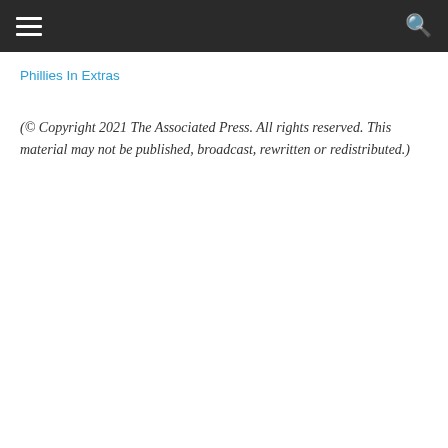☰  🔍
Phillies In Extras
(© Copyright 2021 The Associated Press. All rights reserved. This material may not be published, broadcast, rewritten or redistributed.)